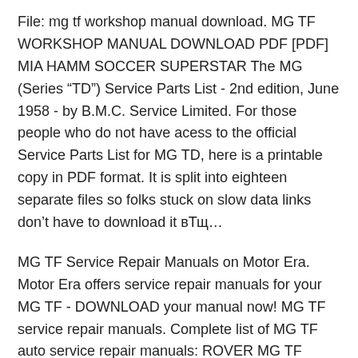File: mg tf workshop manual download. MG TF WORKSHOP MANUAL DOWNLOAD PDF [PDF] MIA HAMM SOCCER SUPERSTAR The MG (Series "TD") Service Parts List - 2nd edition, June 1958 - by B.M.C. Service Limited. For those people who do not have acess to the official Service Parts List for MG TD, here is a printable copy in PDF format. It is split into eighteen separate files so folks stuck on slow data links don't have to download it вЂ¦
MG TF Service Repair Manuals on Motor Era. Motor Era offers service repair manuals for your MG TF - DOWNLOAD your manual now! MG TF service repair manuals. Complete list of MG TF auto service repair manuals: ROVER MG TF 2002-2005 Service Repair Manual; Mg Tf 2002-2005 Rover Workshop Service Repair Manual; mg tf workshop manual download Get Read & Download Ebook mg tf workshop manual download as PDF for free at The Biggest ebook library